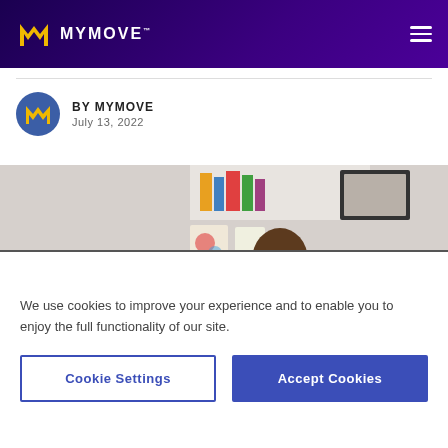MYMOVE™
BY MYMOVE
July 13, 2022
[Figure (photo): A man sitting at a desk, talking on the phone, with colorful artwork and shelves in the background and a plant to the right.]
We use cookies to improve your experience and to enable you to enjoy the full functionality of our site.
Cookie Settings
Accept Cookies